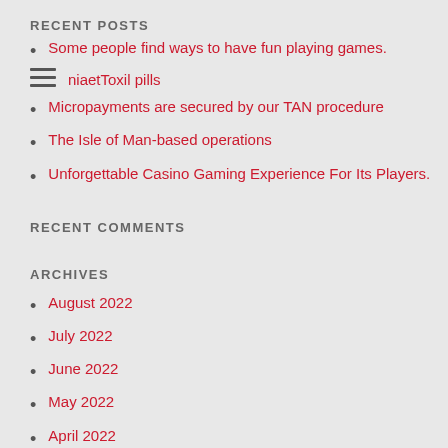RECENT POSTS
Some people find ways to have fun playing games.
niaetToxil pills
Micropayments are secured by our TAN procedure
The Isle of Man-based operations
Unforgettable Casino Gaming Experience For Its Players.
RECENT COMMENTS
ARCHIVES
August 2022
July 2022
June 2022
May 2022
April 2022
March 2022